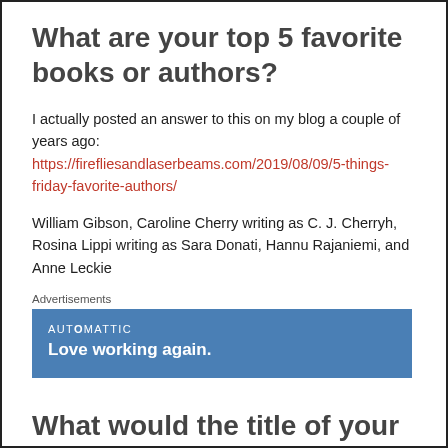What are your top 5 favorite books or authors?
I actually posted an answer to this on my blog a couple of years ago: https://firefliesandlaserbeams.com/2019/08/09/5-things-friday-favorite-authors/
William Gibson, Caroline Cherry writing as C. J. Cherryh, Rosina Lippi writing as Sara Donati, Hannu Rajaniemi, and Anne Leckie
[Figure (screenshot): Advertisement banner for Automattic with text 'Love working again.' on a blue background]
What would the title of your autobiography be?